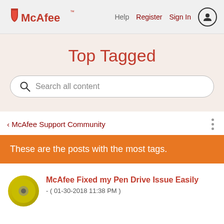McAfee — Help  Register  Sign In
Top Tagged
Search all content
‹ McAfee Support Community
These are the posts with the most tags.
McAfee Fixed my Pen Drive Issue Easily
- ( 01-30-2018 11:38 PM )